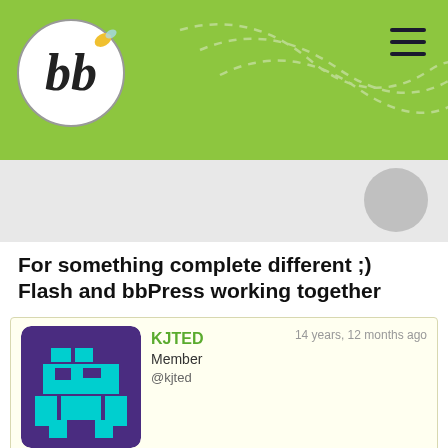[Figure (logo): bbPress logo in a circular black and white emblem with a bee illustration, on a green header bar with dashed decorative curves and a hamburger menu icon]
For something complete different ;) Flash and bbPress working together
14 years, 12 months ago
KJTED
Member
@kjted
We've built a flash site which uses bbPress as it's backend for serving content. I think this might be the first time bbPress has been used in this way, as far as I know, and we're pretty excited about it. Just goes to show how flexible bbPress is.
http://www.foronemoreday.co.uk/
The Create Star section is the best bit.